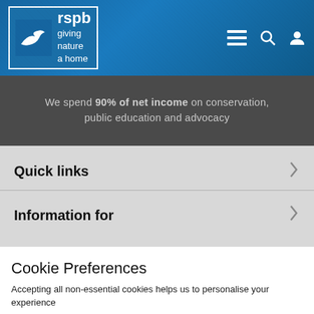[Figure (logo): RSPB logo with bird icon and tagline 'giving nature a home']
We spend 90% of net income on conservation, public education and advocacy
Quick links
Information for
Cookie Preferences
Accepting all non-essential cookies helps us to personalise your experience
EDIT SETTINGS
ACCEPT ALL